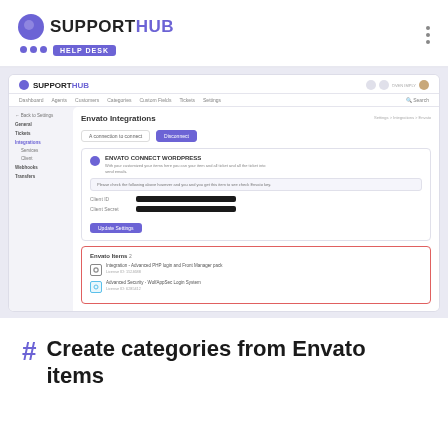SUPPORTHUB HELP DESK
[Figure (screenshot): Screenshot of SupportHub admin panel showing Envato Integration settings page with Envato Items section highlighted in a red border, listing two items: 'Integration - Advanced PHP login and Front Manager pack' and 'Advanced Security - WolfAppSec Login System']
# Create categories from Envato items